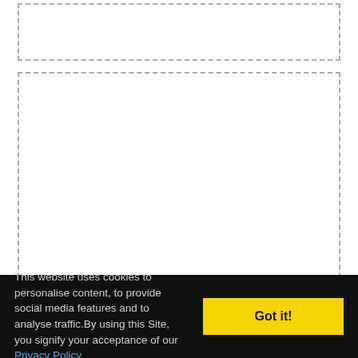It is easier to speak about revival than to set about it. - Horatius Bonar
This website uses cookies to personalise content, to provide social media features and to analyse traffic.By using this Site, you signify your acceptance of our Privacy Policy. Got it!